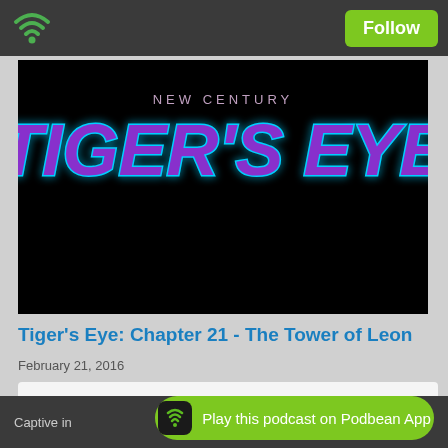Follow
[Figure (illustration): Tiger's Eye podcast cover art: black background with 'NEW CENTURY' in small text above large purple/blue glowing stylized text reading TIGER'S EYE]
Tiger's Eye: Chapter 21 - The Tower of Leon
February 21, 2016
[Figure (screenshot): PodBean embedded podcast player widget]
Captive in
Play this podcast on Podbean App